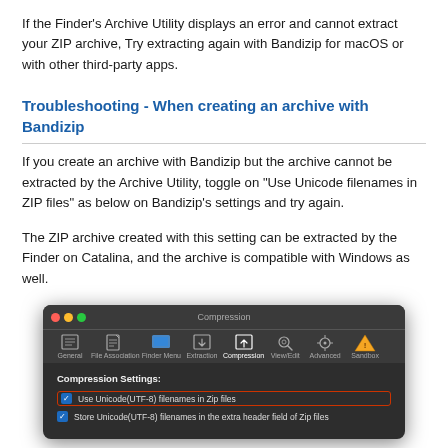If the Finder's Archive Utility displays an error and cannot extract your ZIP archive, Try extracting again with Bandizip for macOS or with other third-party apps.
Troubleshooting - When creating an archive with Bandizip
If you create an archive with Bandizip but the archive cannot be extracted by the Archive Utility, toggle on "Use Unicode filenames in ZIP files" as below on Bandizip's settings and try again.
The ZIP archive created with this setting can be extracted by the Finder on Catalina, and the archive is compatible with Windows as well.
[Figure (screenshot): Screenshot of Bandizip for macOS Compression settings panel showing a dark themed window with toolbar icons (General, File Association, Finder Menu, Extraction, Compression, View/Edit, Advanced, Sandbox) and Compression Settings section with 'Use Unicode(UTF-8) filenames in Zip files' checkbox highlighted with a red border, and 'Store Unicode(UTF-8) filenames in the extra header field of Zip files' checkbox below it.]